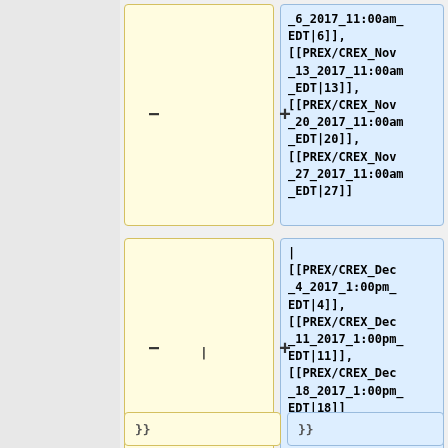_6_2017_11:00am_EDT|6]], [[PREX/CREX_Nov_13_2017_11:00am_EDT|13]], [[PREX/CREX_Nov_20_2017_11:00am_EDT|20]], [[PREX/CREX_Nov_27_2017_11:00am_EDT|27]]
| [[PREX/CREX_Dec_4_2017_1:00pm_EDT|4]], [[PREX/CREX_Dec_11_2017_1:00pm_EDT|11]], [[PREX/CREX_Dec_18_2017_1:00pm_EDT|18]]
}}
}}